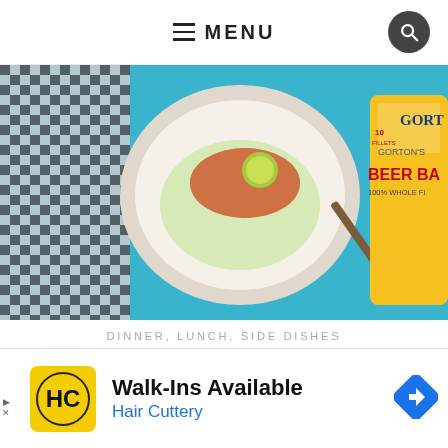≡ MENU
[Figure (photo): Overhead photo of a bowl of cilantro lime slaw with beer battered fish fillet on a blue background, with a fork and a Gorton's Beer Battered Fish Fillets package visible]
DINNER, LUNCH, SIDE DISHES
Cilantro Lime Slaw with Beer Battered Fish Filets
[Figure (other): Advertisement: Walk-Ins Available - Hair Cuttery, with Hair Cuttery logo and navigation icon]